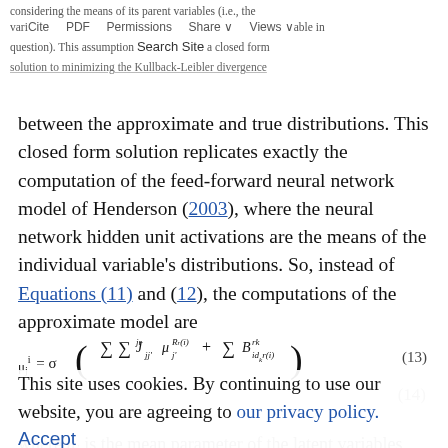considering the means of its parent variables (i.e., the variables with edges directed to the variable in question). This assumption leads to a closed form solution to minimizing the Kullback-Leibler divergence
between the approximate and true distributions. This closed form solution replicates exactly the computation of the feed-forward neural network model of Henderson (2003), where the neural network hidden unit activations are the means of the individual variable's distributions. So, instead of Equations (11) and (12), the computations of the approximate model are
This site uses cookies. By continuing to use our website, you are agreeing to our privacy policy.
Accept
where μ_j is the mean parameter of the latent variables